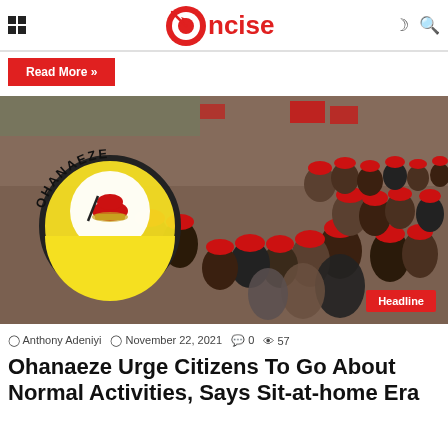Concise
Read More »
[Figure (photo): Crowd of people wearing red traditional caps (fez hats) at a gathering, with the Ohanaeze Ndigbo logo overlaid on the left side. A red 'Headline' badge is in the bottom right corner.]
Anthony Adeniyi  November 22, 2021  0  57
Ohanaeze Urge Citizens To Go About Normal Activities, Says Sit-at-home Era